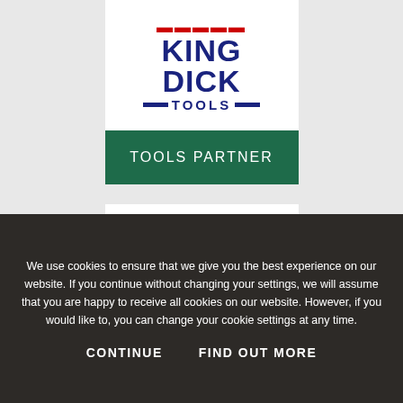[Figure (logo): King Dick Tools logo with crown graphic, bold blue KING DICK text, and TOOLS text with flanking dashes]
TOOLS PARTNER
[Figure (logo): Motul logo partial view, red background with white italic stylized text]
We use cookies to ensure that we give you the best experience on our website. If you continue without changing your settings, we will assume that you are happy to receive all cookies on our website. However, if you would like to, you can change your cookie settings at any time.
CONTINUE
FIND OUT MORE